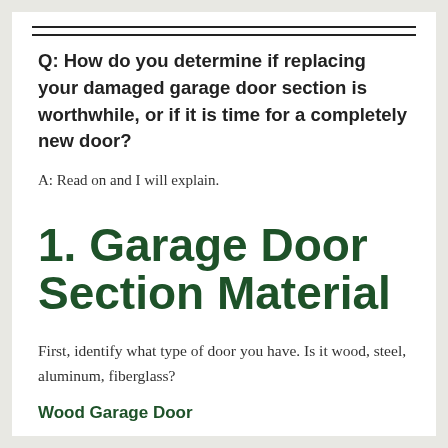Q: How do you determine if replacing your damaged garage door section is worthwhile, or if it is time for a completely new door?
A: Read on and I will explain.
1. Garage Door Section Material
First, identify what type of door you have. Is it wood, steel, aluminum, fiberglass?
Wood Garage Door